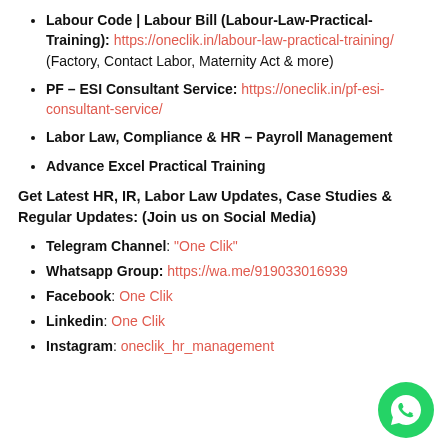Labour Code | Labour Bill (Labour-Law-Practical-Training): https://oneclik.in/labour-law-practical-training/ (Factory, Contact Labor, Maternity Act & more)
PF – ESI Consultant Service: https://oneclik.in/pf-esi-consultant-service/
Labor Law, Compliance & HR – Payroll Management
Advance Excel Practical Training
Get Latest HR, IR, Labor Law Updates, Case Studies & Regular Updates: (Join us on Social Media)
Telegram Channel: "One Clik"
Whatsapp Group: https://wa.me/919033016939
Facebook: One Clik
Linkedin: One Clik
Instagram: oneclik_hr_management